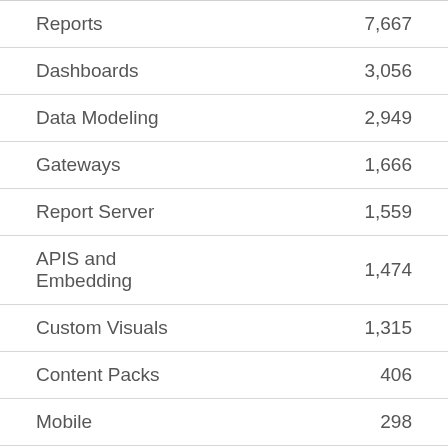| Category | Count |
| --- | --- |
| Reports | 7,667 |
| Dashboards | 3,056 |
| Data Modeling | 2,949 |
| Gateways | 1,666 |
| Report Server | 1,559 |
| APIS and Embedding | 1,474 |
| Custom Visuals | 1,315 |
| Content Packs | 406 |
| Mobile | 298 |
| Need Help | 3 |